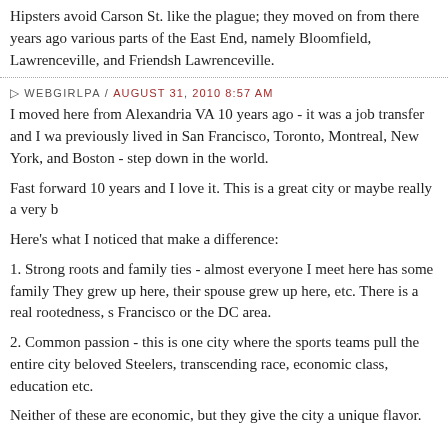Hipsters avoid Carson St. like the plague; they moved on from there years ago various parts of the East End, namely Bloomfield, Lawrenceville, and Friendsh Lawrenceville.
WEBGIRLPA / AUGUST 31, 2010 8:57 AM
I moved here from Alexandria VA 10 years ago - it was a job transfer and I wa previously lived in San Francisco, Toronto, Montreal, New York, and Boston - step down in the world.
Fast forward 10 years and I love it. This is a great city or maybe really a very b
Here's what I noticed that make a difference:
1. Strong roots and family ties - almost everyone I meet here has some family They grew up here, their spouse grew up here, etc. There is a real rootedness, s Francisco or the DC area.
2. Common passion - this is one city where the sports teams pull the entire city beloved Steelers, transcending race, economic class, education etc.
Neither of these are economic, but they give the city a unique flavor.